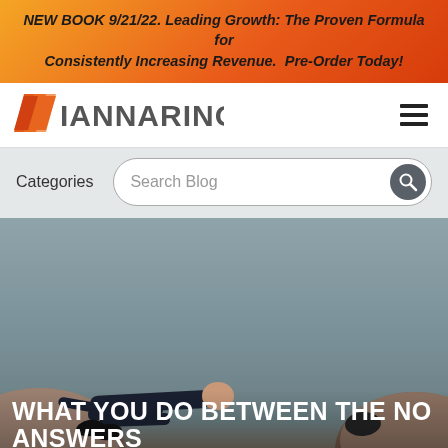NEW BOOK 9/21/22. Leading Growth: The Proven Formula for Consistently Increasing Revenue. Pre-Order Today!
[Figure (logo): Iannarino logo with orange triangle chevron and dark grey text]
[Figure (other): Person in business attire lying horizontally between two large boulders/rocks against grey sky]
WHAT YOU DO BETWEEN THE NO ANSWERS